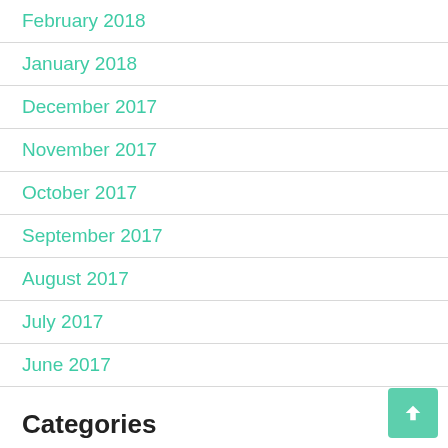February 2018
January 2018
December 2017
November 2017
October 2017
September 2017
August 2017
July 2017
June 2017
Categories
About Diet
Children Food